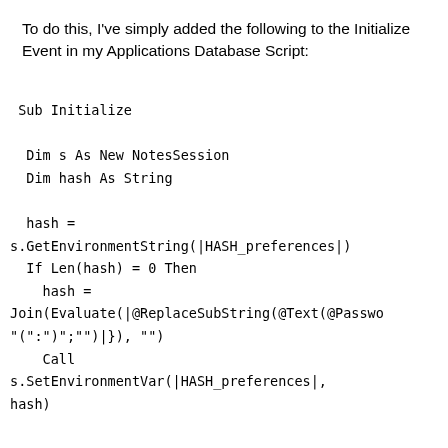To do this, I've simply added the following to the Initialize Event in my Applications Database Script:
Sub Initialize

  Dim s As New NotesSession
  Dim hash As String

  hash =
s.GetEnvironmentString(|HASH_preferences|)
  If Len(hash) = 0 Then
    hash =
Join(Evaluate(|@ReplaceSubString(@Text(@Passwo
"(":")";"")|), "")
    Call
s.SetEnvironmentVar(|HASH_preferences|,
hash)